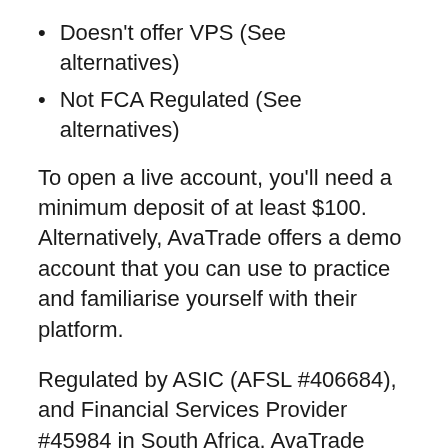Doesn't offer VPS (See alternatives)
Not FCA Regulated (See alternatives)
To open a live account, you'll need a minimum deposit of at least $100. Alternatively, AvaTrade offers a demo account that you can use to practice and familiarise yourself with their platform.
Regulated by ASIC (AFSL #406684), and Financial Services Provider #45984 in South Africa. AvaTrade puts all client funds in a segregated bank account and uses tier-1 banks for this. AvaTrade has been established since 2006 and has...